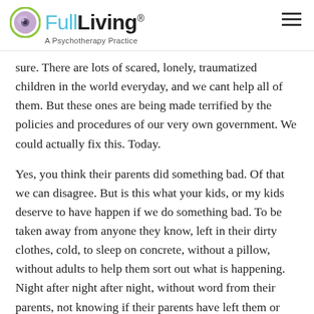FullLiving® — A Psychotherapy Practice
sure. There are lots of scared, lonely, traumatized children in the world everyday, and we cant help all of them. But these ones are being made terrified by the policies and procedures of our very own government. We could actually fix this. Today.
Yes, you think their parents did something bad. Of that we can disagree. But is this what your kids, or my kids deserve to have happen if we do something bad. To be taken away from anyone they know, left in their dirty clothes, cold, to sleep on concrete, without a pillow, without adults to help them sort out what is happening. Night after night after night, without word from their parents, not knowing if their parents have left them or care about them or have